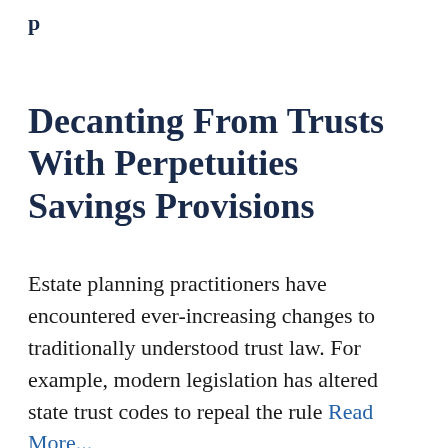p
Decanting From Trusts With Perpetuities Savings Provisions
Estate planning practitioners have encountered ever-increasing changes to traditionally understood trust law. For example, modern legislation has altered state trust codes to repeal the rule Read More...